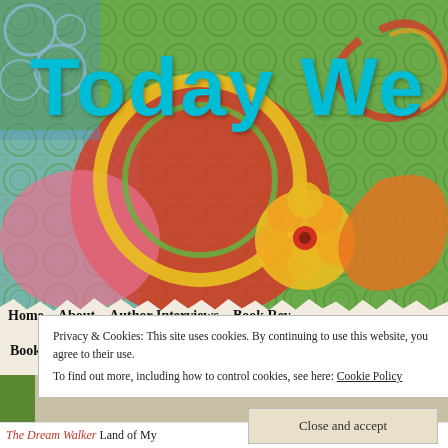[Figure (illustration): Colorful decorative website header with floral and circular patterns in red, yellow, green, blue on a tiled background]
Today We
Home   About   Author Interviews   Book Rev
Book Review Policy and Copyright   Other book
Privacy & Cookies: This site uses cookies. By continuing to use this website, you agree to their use.
To find out more, including how to control cookies, see here: Cookie Policy
Close and accept
The Dream Walker Land of My